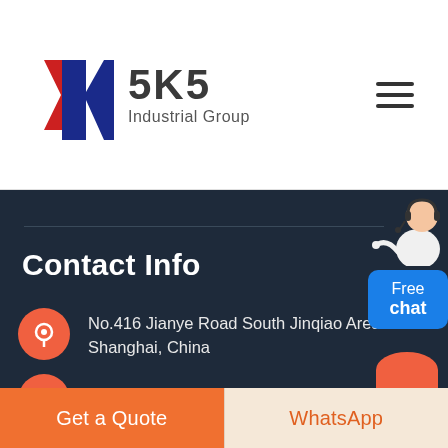[Figure (logo): SKS Industrial Group logo with a stylized red and blue K letter mark, company name '5K5' and subtitle 'Industrial Group']
Contact Info
No.416 Jianye Road South Jinqiao Area Shanghai, China
contact@pejaw.com
Get a Quote
WhatsApp